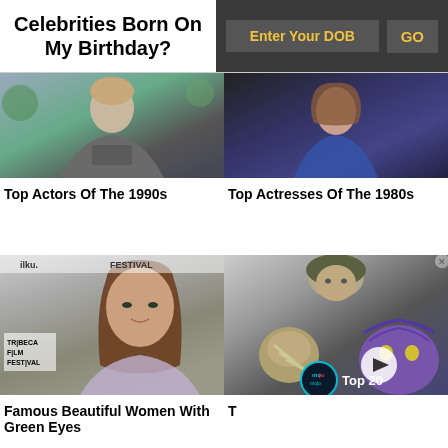Celebrities Born On My Birthday?
Enter Your DOB
GO
[Figure (photo): Photo of a male actor outdoors in a suit, background with greenery]
Top Actors Of The 1990s
[Figure (photo): Photo of a woman in blue clothing against dark background]
Top Actresses Of The 1980s
[Figure (photo): Woman in sparkly dress at Tribeca Film Festival red carpet]
Famous Beautiful Women With Green Eyes
[Figure (photo): Collage: soldier in helmet, man, purple creature, WatchMojo Top 20 video thumbnail with play button]
T